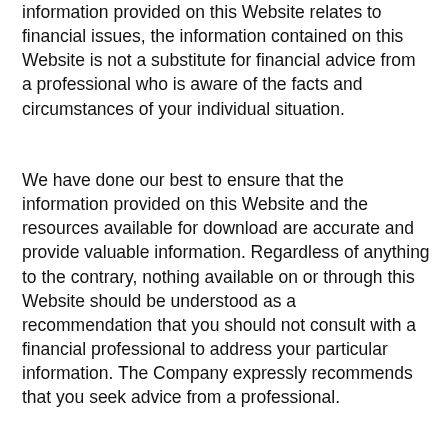information provided on this Website relates to financial issues, the information contained on this Website is not a substitute for financial advice from a professional who is aware of the facts and circumstances of your individual situation.
We have done our best to ensure that the information provided on this Website and the resources available for download are accurate and provide valuable information. Regardless of anything to the contrary, nothing available on or through this Website should be understood as a recommendation that you should not consult with a financial professional to address your particular information. The Company expressly recommends that you seek advice from a professional.